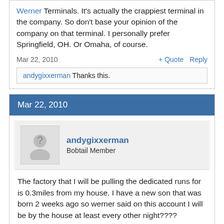Werner Terminals. It's actually the crappiest terminal in the company. So don't base your opinion of the company on that terminal. I personally prefer Springfield, OH. Or Omaha, of course.
Mar 22, 2010
+ Quote  Reply
andygixxerman Thanks this.
Mar 22, 2010
andygixxerman
Bobtail Member
The factory that I will be pulling the dedicated runs for is 0.3miles from my house. I have a new son that was born 2 weeks ago so werner said on this account I will be by the house at least every other night????hopefully for my 10 hr. I only have 1.5yrs experiance with my cdl a, I had a cdl B for 9 yrs previous. I have been off the road for a